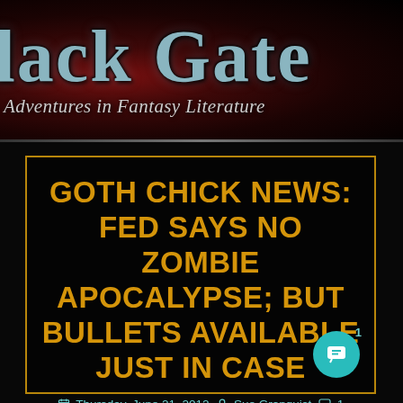lack Gate — Adventures in Fantasy Literature
GOTH CHICK NEWS: FED SAYS NO ZOMBIE APOCALYPSE; BUT BULLETS AVAILABLE JUST IN CASE
Thursday, June 21, 2012  Sue Granquist  1 Comment